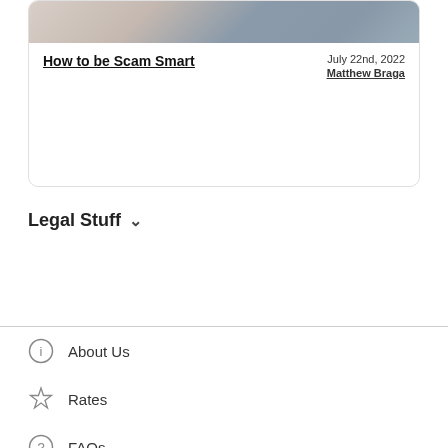[Figure (photo): Photo of a person sitting on a couch, partially cropped at the top.]
How to be Scam Smart
July 22nd, 2022
Matthew Braga
Legal Stuff ∨
About Us
Rates
FAQs